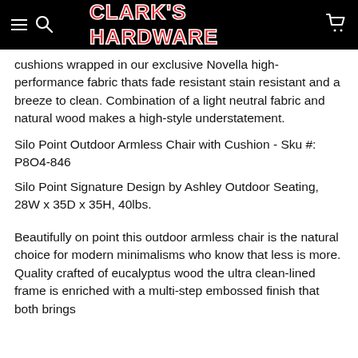CLARK'S HARDWARE
cushions wrapped in our exclusive Novella high-performance fabric thats fade resistant stain resistant and a breeze to clean. Combination of a light neutral fabric and natural wood makes a high-style understatement.
Silo Point Outdoor Armless Chair with Cushion - Sku #: P8O4-846
Silo Point Signature Design by Ashley Outdoor Seating, 28W x 35D x 35H, 40lbs.
Beautifully on point this outdoor armless chair is the natural choice for modern minimalisms who know that less is more. Quality crafted of eucalyptus wood the ultra clean-lined frame is enriched with a multi-step embossed finish that both brings